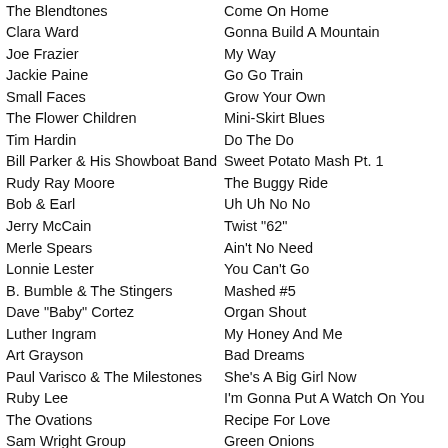| Artist | Song |
| --- | --- |
| The Blendtones | Come On Home |
| Clara Ward | Gonna Build A Mountain |
| Joe Frazier | My Way |
| Jackie Paine | Go Go Train |
| Small Faces | Grow Your Own |
| The Flower Children | Mini-Skirt Blues |
| Tim Hardin | Do The Do |
| Bill Parker & His Showboat Band | Sweet Potato Mash Pt. 1 |
| Rudy Ray Moore | The Buggy Ride |
| Bob & Earl | Uh Uh No No |
| Jerry McCain | Twist "62" |
| Merle Spears | Ain't No Need |
| Lonnie Lester | You Can't Go |
| B. Bumble & The Stingers | Mashed #5 |
| Dave "Baby" Cortez | Organ Shout |
| Luther Ingram | My Honey And Me |
| Art Grayson | Bad Dreams |
| Paul Varisco & The Milestones | She's A Big Girl Now |
| Ruby Lee | I'm Gonna Put A Watch On You |
| The Ovations | Recipe For Love |
| Sam Wright Group | Green Onions |